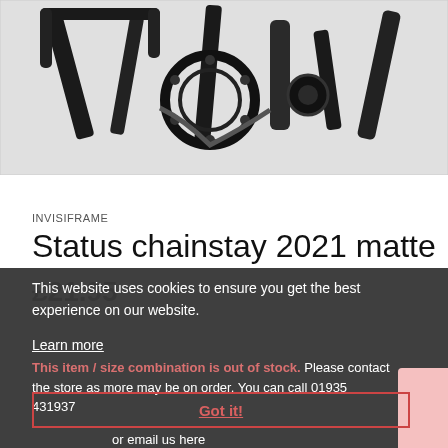[Figure (photo): Close-up photograph of bicycle drivetrain components — chainrings, chain, and frame tubes in dark/black finish against white background]
INVISIFRAME
Status chainstay 2021 matte
£21.95
This website uses cookies to ensure you get the best experience on our website.
Learn more
This item / size combination is out of stock. Please contact the store as more may be on order. You can call 01935 431937 or email us here
Got it!